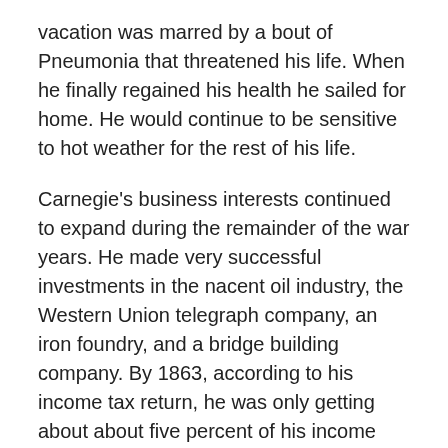vacation was marred by a bout of Pneumonia that threatened his life. When he finally regained his health he sailed for home. He would continue to be sensitive to hot weather for the rest of his life.
Carnegie's business interests continued to expand during the remainder of the war years. He made very successful investments in the nacent oil industry, the Western Union telegraph company, an iron foundry, and a bridge building company. By 1863, according to his income tax return, he was only getting about about five percent of his income from his full time job with the railroad.
The other ninety-five percent came from his other interests, all of which (except for Western Union, in which he didn't play any significant management role) could have benefited from his more-direct involvement. His patriotism and anti-slavery passions